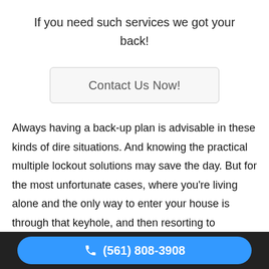If you need such services we got your back!
[Figure (other): Contact Us Now! button with light gray background and rounded border]
Always having a back-up plan is advisable in these kinds of dire situations. And knowing the practical multiple lockout solutions may save the day. But for the most unfortunate cases, where you’re living alone and the only way to enter your house is through that keyhole, and then resorting to
(561) 808-3908